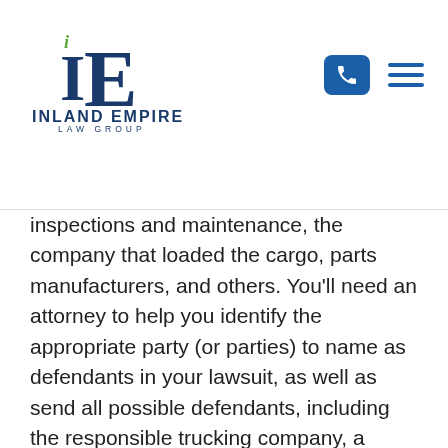[Figure (logo): Inland Empire Law Group logo with stylized 'IE' letters and green leaf accent, blue text reading INLAND EMPIRE LAW GROUP]
inspections and maintenance, the company that loaded the cargo, parts manufacturers, and others.  You'll need an attorney to help you identify the appropriate party (or parties) to name as defendants in your lawsuit, as well as send all possible defendants, including the responsible trucking company, a spoliation letter requiring them to preserve documents and other valuable evidence related to your case.
Like truck crash cases, motorcycle accident claims can lead to significant damages and recoveries. In